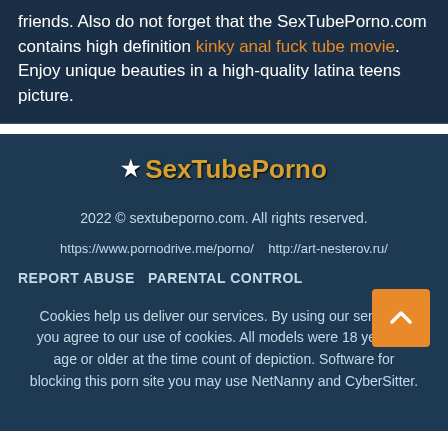friends. Also do not forget that the SexTubePorno.com contains high definition kinky anal fuck tube movie. Enjoy unique beauties in a high-quality latina teens picture.
[Figure (logo): SexTubePorno star logo with text]
2022 © sextubeporno.com. All rights reserved.
https://www.pornodrive.me/porno/    http://art-nesterov.ru/
REPORT ABUSE   PARENTAL CONTROL
Cookies help us deliver our services. By using our services, you agree to our use of cookies. All models were 18 years of age or older at the time count of depiction. Software for blocking this porn site you may use NetNanny and CyberSitter.